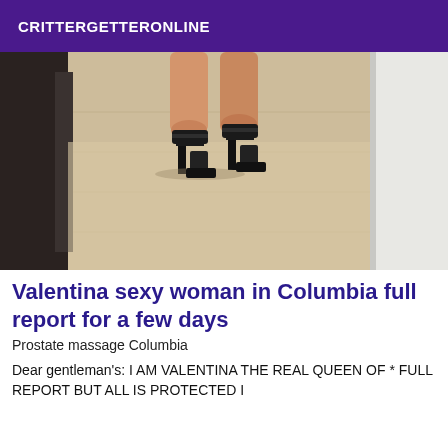CRITTERGETTERONLINE
[Figure (photo): Photo of a person's legs wearing black high-heeled sandals standing on a light wood-grain floor, with a dark object on the left side and a white wall/door on the right.]
Valentina sexy woman in Columbia full report for a few days
Prostate massage Columbia
Dear gentleman's: I AM VALENTINA THE REAL QUEEN OF * FULL REPORT BUT ALL IS PROTECTED I